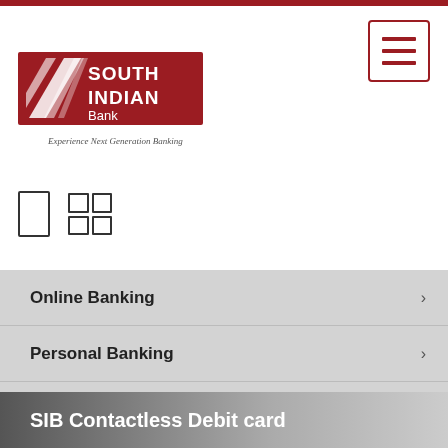[Figure (logo): South Indian Bank logo — red rectangle with white text SOUTH INDIAN Bank and a diagonal stripe graphic; tagline: Experience Next Generation Banking]
[Figure (other): Hamburger menu icon — three horizontal red lines in a red-bordered square]
[Figure (other): Two small icon boxes: a rectangular icon and a 2x2 grid icon]
Online Banking
Personal Banking
Priority Banking
NRI Banking
Business Banking
SIB Contactless Debit card